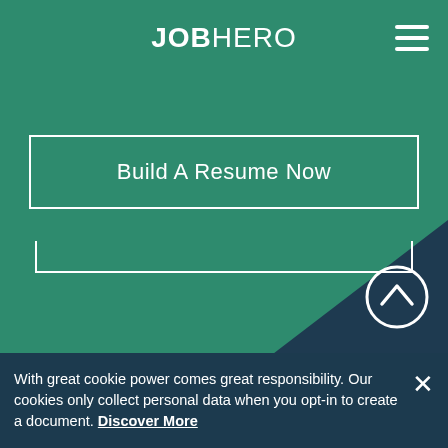JOBHERO
Build A Resume Now
[Figure (illustration): Dark navy triangle shape in lower right corner of green background, with a circular scroll-up arrow button (white chevron up inside white circle outline) in lower right area]
With great cookie power comes great responsibility. Our cookies only collect personal data when you opt-in to create a document. Discover More